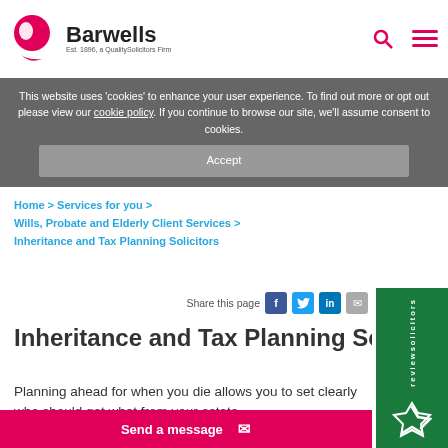Barwells — Est. 1896, a QualitySolicitors Firm
This website uses 'cookies' to enhance your user experience. To find out more or opt out please view our cookie policy. If you continue to browse our site, we'll assume consent to cookies.
Accept
Home > Services for you > Wills, Probate and Elderly Client Services > Inheritance and Tax Planning Solicitors
Share this page
Inheritance and Tax Planning Solicitors
Planning ahead for when you die allows you to set clearly who should get what from your estate. QualitySolicitors Barwells can help you think through
Send a message